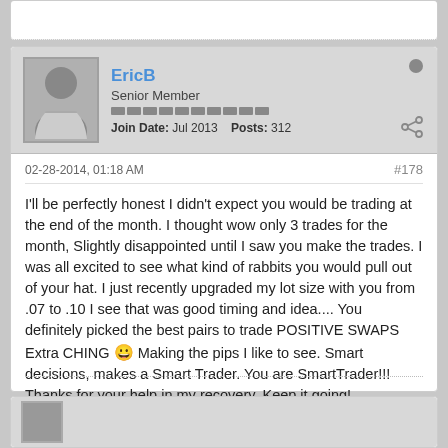EricB — Senior Member
Join Date: Jul 2013  Posts: 312
02-28-2014, 01:18 AM   #178
I'll be perfectly honest I didn't expect you would be trading at the end of the month. I thought wow only 3 trades for the month, Slightly disappointed until I saw you make the trades. I was all excited to see what kind of rabbits you would pull out of your hat. I just recently upgraded my lot size with you from .07 to .10 I see that was good timing and idea.... You definitely picked the best pairs to trade POSITIVE SWAPS Extra CHING 😀 Making the pips I like to see. Smart decisions, makes a Smart Trader. You are SmartTrader!!! Thanks for your help in my recovery. Keep it going!